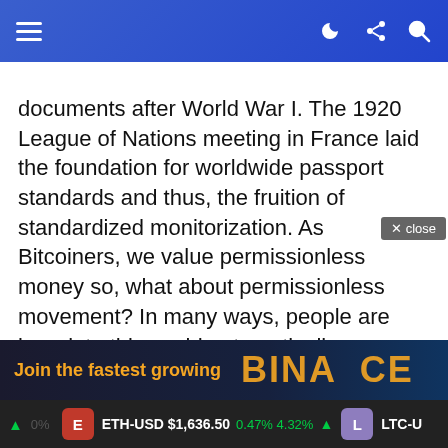Navigation bar with hamburger menu, half-moon icon, share icon, and search icon
documents after World War I. The 1920 League of Nations meeting in France laid the foundation for worldwide passport standards and thus, the fruition of standardized monitorization. As Bitcoiners, we value permissionless money so, what about permissionless movement? In many ways, people are born into this world automatically becoming a human barcode, assigned a number as a slave to the current monetary system that exists today.

So, those who seek permissionless movement may
[Figure (screenshot): Close button overlay and Binance advertisement banner at the bottom of the article content, with 'Join the fastest growing' text and partial Binance logo]
ETH-USD $1,636.50  LTC-US  ticker bar